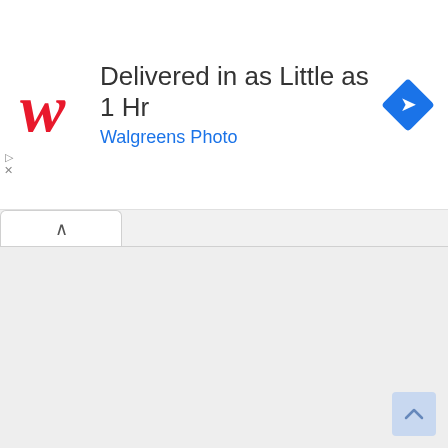[Figure (screenshot): Walgreens Photo advertisement banner showing the Walgreens cursive W logo in red, headline 'Delivered in as Little as 1 Hr', subheading 'Walgreens Photo' in blue, and a blue diamond-shaped navigation/share icon on the right. Below the ad is a browser-style content area with a tab and a scroll-to-top button.]